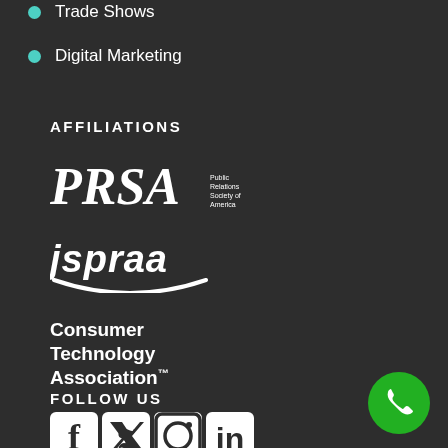Trade Shows
Digital Marketing
AFFILIATIONS
[Figure (logo): PRSA - Public Relations Society of America logo in white serif font]
[Figure (logo): jspraa logo in white italic bold font with smile underline]
[Figure (logo): Consumer Technology Association logo in white bold font]
FOLLOW US
[Figure (logo): Social media icons: Facebook, Twitter, Instagram, LinkedIn in white on dark background]
[Figure (other): Green phone call button in bottom right corner]